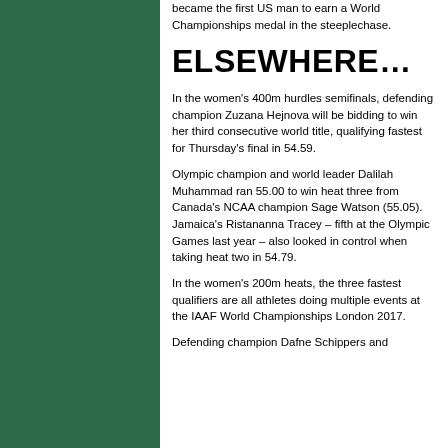became the first US man to earn a World Championships medal in the steeplechase.
ELSEWHERE…
In the women's 400m hurdles semifinals, defending champion Zuzana Hejnova will be bidding to win her third consecutive world title, qualifying fastest for Thursday's final in 54.59.
Olympic champion and world leader Dalilah Muhammad ran 55.00 to win heat three from Canada's NCAA champion Sage Watson (55.05). Jamaica's Ristananna Tracey – fifth at the Olympic Games last year – also looked in control when taking heat two in 54.79.
In the women's 200m heats, the three fastest qualifiers are all athletes doing multiple events at the IAAF World Championships London 2017.
Defending champion Dafne Schippers and...